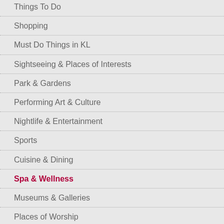Things To Do
Shopping
Must Do Things in KL
Sightseeing & Places of Interests
Park & Gardens
Performing Art & Culture
Nightlife & Entertainment
Sports
Cuisine & Dining
Spa & Wellness
Museums & Galleries
Places of Worship
Did You Know?
The traditional Malay massage, or urut, is known to aid in weight